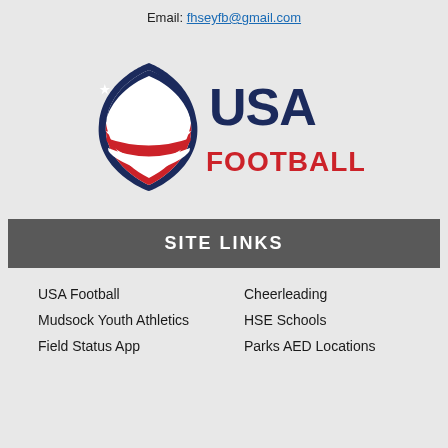Email: fhseyfb@gmail.com
[Figure (logo): USA Football logo — dark navy football shield with red/white stripes and white stars on left, 'USA' in large dark navy text and 'FOOTBALL' in large red bold text on right]
SITE LINKS
USA Football
Cheerleading
Mudsock Youth Athletics
HSE Schools
Field Status App
Parks AED Locations